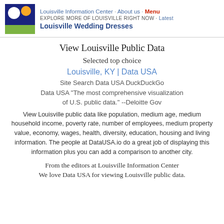Louisville Information Center · About us · Menu
EXPLORE MORE OF LOUISVILLE RIGHT NOW · Latest
Louisville Wedding Dresses
View Louisville Public Data
Selected top choice
Louisville, KY | Data USA
Site Search Data USA DuckDuckGo
Data USA "The most comprehensive visualization of U.S. public data." --Deloitte Gov
View Louisville public data like population, medium age, medium household income, poverty rate, number of employees, medium property value, economy, wages, health, diversity, education, housing and living information. The people at DataUSA.io do a great job of displaying this information plus you can add a comparison to another city.
From the editors at Louisville Information Center
We love Data USA for viewing Louisville public data.